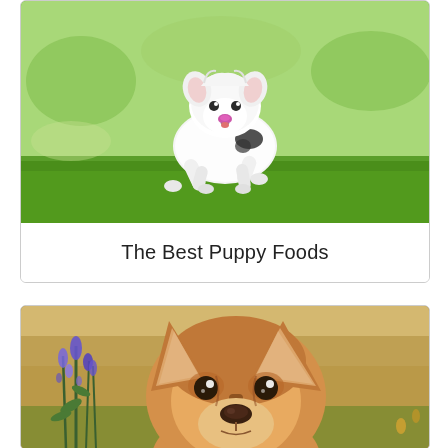[Figure (photo): A fluffy white and black puppy running and jumping on green grass, photographed outdoors in a garden setting]
The Best Puppy Foods
[Figure (photo): A Corgi puppy looking directly at the camera, surrounded by purple/blue wildflowers and green grass in an outdoor garden setting]